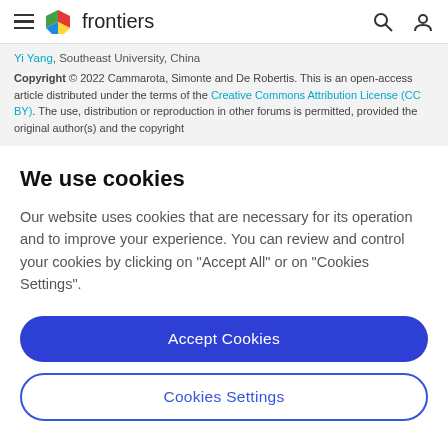frontiers
Yi Yang, Southeast University, China
Copyright © 2022 Cammarota, Simonte and De Robertis. This is an open-access article distributed under the terms of the Creative Commons Attribution License (CC BY). The use, distribution or reproduction in other forums is permitted, provided the original author(s) and the copyright
We use cookies
Our website uses cookies that are necessary for its operation and to improve your experience. You can review and control your cookies by clicking on "Accept All" or on "Cookies Settings".
Accept Cookies
Cookies Settings